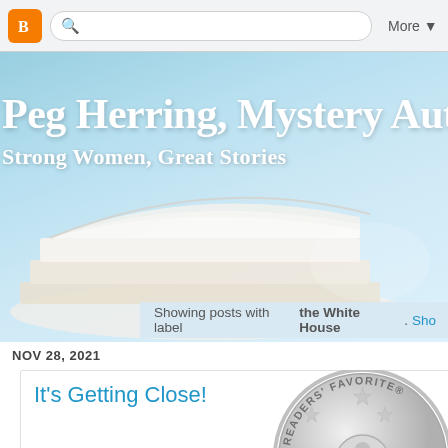Blogger toolbar with search and More button
[Figure (screenshot): Blog header banner for Peg Herring Mystery Author with stacked books on light blue background]
Peg Herring, Mystery Author
Strong Women, Great Stories
Showing posts with label the White House. Sho
NOV 28, 2021
It's Getting Close!
[Figure (logo): Readers' Favorite silver medallion/seal badge]